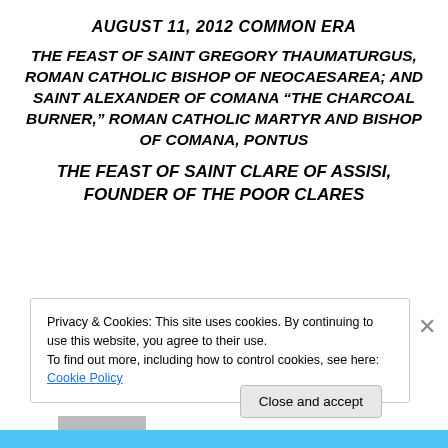AUGUST 11, 2012 COMMON ERA
THE FEAST OF SAINT GREGORY THAUMATURGUS, ROMAN CATHOLIC BISHOP OF NEOCAESAREA; AND SAINT ALEXANDER OF COMANA “THE CHARCOAL BURNER,” ROMAN CATHOLIC MARTYR AND BISHOP OF COMANA, PONTUS
THE FEAST OF SAINT CLARE OF ASSISI, FOUNDER OF THE POOR CLARES
Privacy & Cookies: This site uses cookies. By continuing to use this website, you agree to their use.
To find out more, including how to control cookies, see here: Cookie Policy